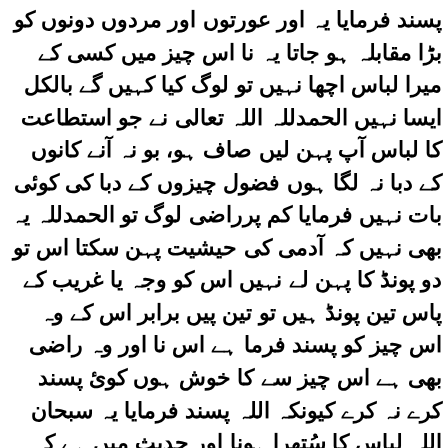پسند فرمایا یہ اور عورتوں اور مردوں دونوں کو بڑا مقابلہ ہو جاتا یہ نا اس چیز میں کسی کے میرا لباس اچھا نہیں تو لوگ کیا کہیں گے بالکل ایسا نہیں الحمدللہ اللہ تعالی نے جو استطاعت کا لباس آپ پہن لیں صاف ہو، بو نہ آنے کانوں کے دبا نہ لگا ہوں فضول چیزوں کے دبا کی کوئی بات نہیں فرمایا کم پرراضی لوگ تو الحمدللہ یہ بھی نہیں کہ آدمی کی حیثیت پہن سکتا اس تو دو پونڈ کا پہن لے نہیں اس کو وجہ یا غریب کے پاس تین پونڈ ہیں تو تین پیں برابر اس کے وہ اس چیز کو پسند فرما ہے اس نا اور وہ راضی بھی ہے اس چیز سے کا خوش ہوں کوئ پسند کرے نہ کرے کیونکہ اللہ پسند فرمایا یہ سبحان اللہ لباس کا سُتھرا ہونا اور حدیث میں ہے کہ اللہ کے نبی میلا اور گندا پسند فرماتہ تھے ہمارے یہاں اکثر یہ کہ جب ہم پہنتے ہیں گندے کے گندے۔